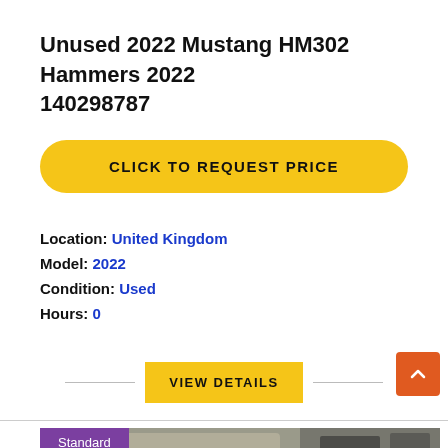Unused 2022 Mustang HM302 Hammers 2022 140298787
CLICK TO REQUEST PRICE
Location: United Kingdom
Model: 2022
Condition: Used
Hours: 0
VIEW DETAILS
[Figure (photo): Photo of Mustang HM302 hammer equipment on a pallet outdoors, with 'Standard' badge overlay in purple]
Standard